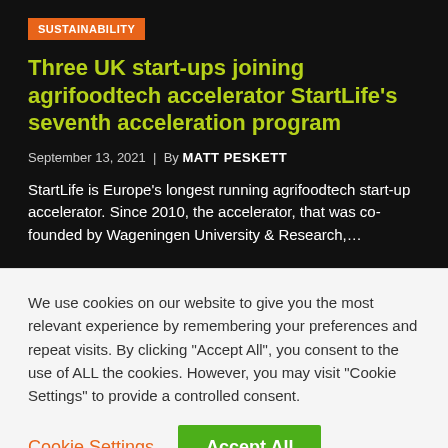SUSTAINABILITY
Three UK start-ups joining agrifoodtech accelerator StartLife’s seventh acceleration program
September 13, 2021 | By MATT PESKETT
StartLife is Europe’s longest running agrifoodtech start-up accelerator. Since 2010, the accelerator, that was co-founded by Wageningen University & Research,...
We use cookies on our website to give you the most relevant experience by remembering your preferences and repeat visits. By clicking “Accept All”, you consent to the use of ALL the cookies. However, you may visit "Cookie Settings" to provide a controlled consent.
Cookie Settings | Accept All